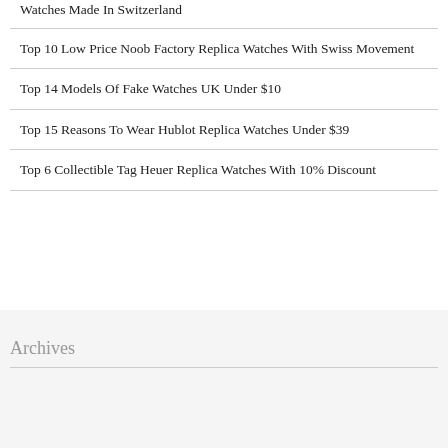Watches Made In Switzerland
Top 10 Low Price Noob Factory Replica Watches With Swiss Movement
Top 14 Models Of Fake Watches UK Under $10
Top 15 Reasons To Wear Hublot Replica Watches Under $39
Top 6 Collectible Tag Heuer Replica Watches With 10% Discount
Archives